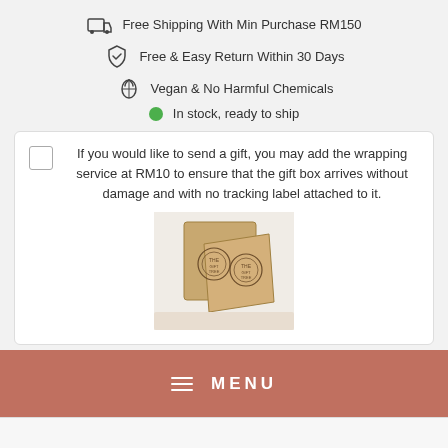Free Shipping With Min Purchase RM150
Free & Easy Return Within 30 Days
Vegan & No Harmful Chemicals
In stock, ready to ship
If you would like to send a gift, you may add the wrapping service at RM10 to ensure that the gift box arrives without damage and with no tracking label attached to it.
[Figure (photo): Two kraft paper gift boxes with branded circular stamp marks, arranged on a light surface]
MENU